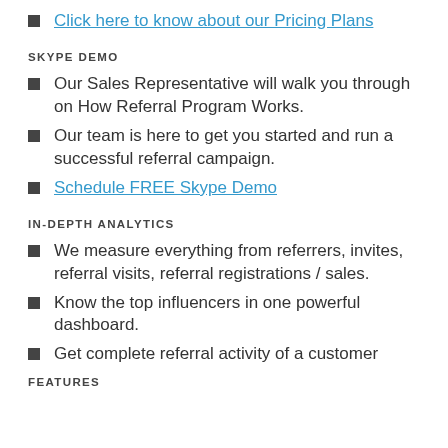Click here to know about our Pricing Plans
SKYPE DEMO
Our Sales Representative will walk you through on How Referral Program Works.
Our team is here to get you started and run a successful referral campaign.
Schedule FREE Skype Demo
IN-DEPTH ANALYTICS
We measure everything from referrers, invites, referral visits, referral registrations / sales.
Know the top influencers in one powerful dashboard.
Get complete referral activity of a customer
FEATURES